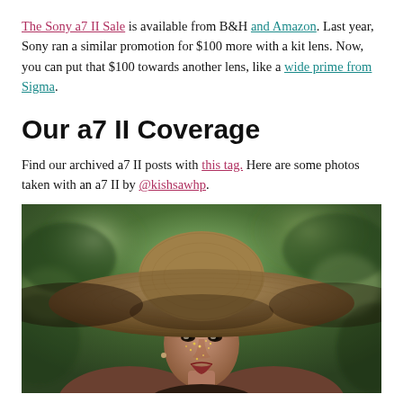The Sony a7 II Sale is available from B&H and Amazon. Last year, Sony ran a similar promotion for $100 more with a kit lens. Now, you can put that $100 towards another lens, like a wide prime from Sigma.
Our a7 II Coverage
Find our archived a7 II posts with this tag. Here are some photos taken with an a7 II by @kishsawhp.
[Figure (photo): Portrait photograph of a woman wearing a large wide-brim straw hat, with glitter on her face, green bokeh background.]